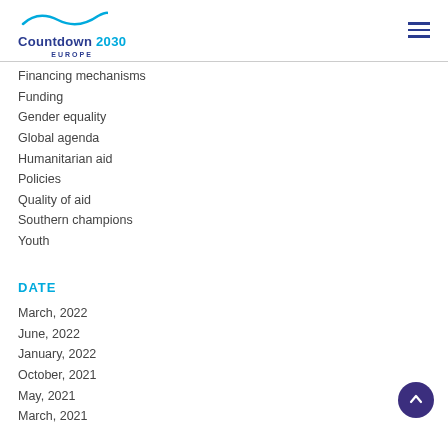Countdown 2030 EUROPE
Financing mechanisms
Funding
Gender equality
Global agenda
Humanitarian aid
Policies
Quality of aid
Southern champions
Youth
DATE
March, 2022
June, 2022
January, 2022
October, 2021
May, 2021
March, 2021